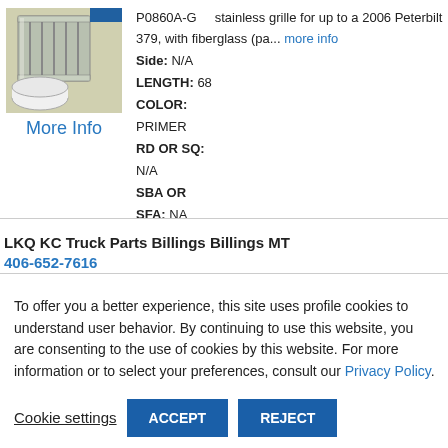[Figure (photo): Photo of a stainless steel truck grille/exhaust stack part with white cylindrical roll component]
More Info
P0860A-G    stainless grille for up to a 2006 Peterbilt 379, with fiberglass (pa... more info
Side: N/A
LENGTH: 68
COLOR:
PRIMER
RD OR SQ:
N/A
SBA OR
SFA: NA
LKQ KC Truck Parts Billings Billings MT
406-652-7616
To offer you a better experience, this site uses profile cookies to understand user behavior. By continuing to use this website, you are consenting to the use of cookies by this website. For more information or to select your preferences, consult our Privacy Policy.
Cookie settings  ACCEPT  REJECT